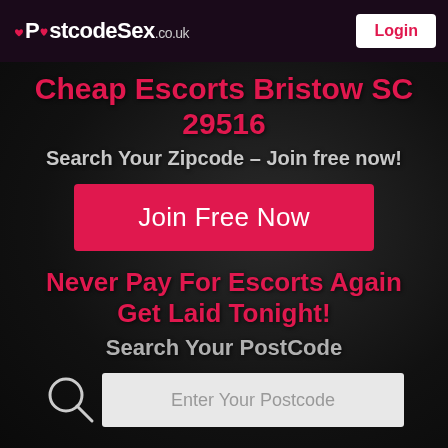PostcodeSex.co.uk | Login
Cheap Escorts Bristow SC 29516
Search Your Zipcode – Join free now!
Join Free Now
Never Pay For Escorts Again Get Laid Tonight!
Search Your PostCode
Enter Your Postcode